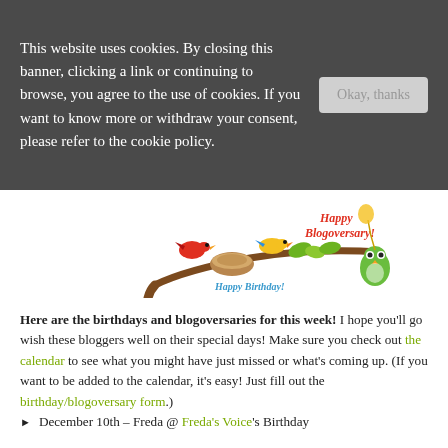This website uses cookies. By closing this banner, clicking a link or continuing to browse, you agree to the use of cookies. If you want to know more or withdraw your consent, please refer to the cookie policy.
[Figure (illustration): Decorative birthday and blogoversary banner image with colorful birds on a branch, a nest, leaves, and an owl holding a balloon. Text reads 'Happy Birthday!' and 'Happy Blogoversary!']
Here are the birthdays and blogoversaries for this week! I hope you'll go wish these bloggers well on their special days! Make sure you check out the calendar to see what you might have just missed or what's coming up. (If you want to be added to the calendar, it's easy! Just fill out the birthday/blogoversary form.)
December 10th – Freda @ Freda's Voice's Birthday